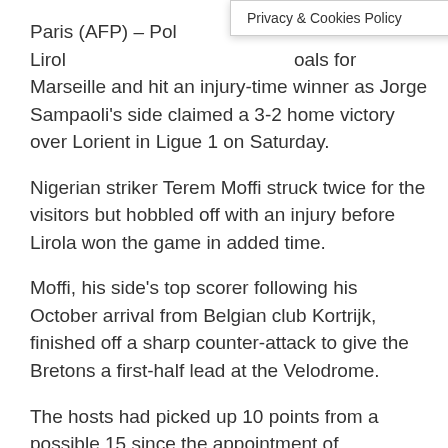Privacy & Cookies Policy
Paris (AFP) – Pol Lirola scored two goals for Marseille and hit an injury-time winner as Jorge Sampaoli's side claimed a 3-2 home victory over Lorient in Ligue 1 on Saturday.
Nigerian striker Terem Moffi struck twice for the visitors but hobbled off with an injury before Lirola won the game in added time.
Moffi, his side's top scorer following his October arrival from Belgian club Kortrijk, finished off a sharp counter-attack to give the Bretons a first-half lead at the Velodrome.
The hosts had picked up 10 points from a possible 15 since the appointment of Sampaoli, and they levelled through a sensational Dimitri Payet volley on 53 minutes.